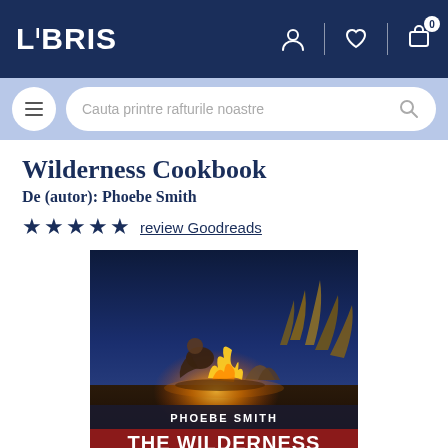LIBRIS
[Figure (screenshot): Libris bookstore website screenshot showing navigation bar with logo, user/wishlist/cart icons, search bar, book title 'Wilderness Cookbook' by Phoebe Smith with star rating, and book cover image showing a person cooking by a campfire at night with text 'PHOEBE SMITH' and 'THE WILDERNESS' on the cover]
Wilderness Cookbook
De (autor): Phoebe Smith
★★★★★ review Goodreads
[Figure (photo): Book cover of 'The Wilderness Cookbook' by Phoebe Smith. A person crouches by a campfire at night in a desert landscape, cooking food. The sky is deep blue. At the bottom, 'PHOEBE SMITH' appears in white text on a dark background, and 'THE WILDERNESS' appears in large bold white text on a red/crimson background.]